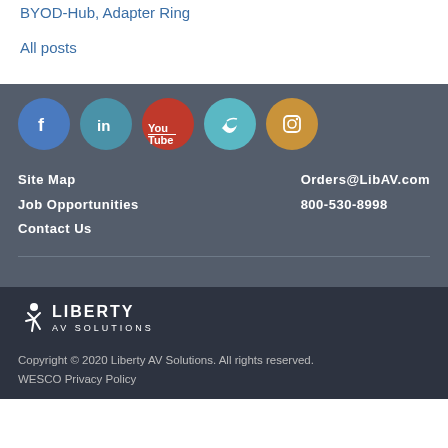BYOD-Hub, Adapter Ring
All posts
[Figure (logo): Social media icons: Facebook (blue), LinkedIn (teal-blue), YouTube (red), Twitter (light blue), Instagram (gold/orange)]
Site Map
Job Opportunities
Contact Us
Orders@LibAV.com
800-530-8998
[Figure (logo): Liberty AV Solutions logo with runner icon in white on dark background]
Copyright © 2020 Liberty AV Solutions. All rights reserved. WESCO Privacy Policy